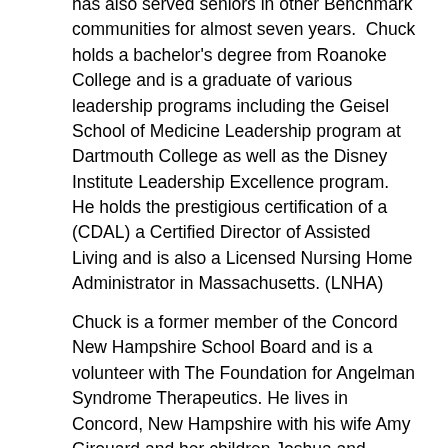has also served seniors in other Benchmark communities for almost seven years. Chuck holds a bachelor's degree from Roanoke College and is a graduate of various leadership programs including the Geisel School of Medicine Leadership program at Dartmouth College as well as the Disney Institute Leadership Excellence program. He holds the prestigious certification of a (CDAL) a Certified Director of Assisted Living and is also a Licensed Nursing Home Administrator in Massachusetts. (LNHA)
Chuck is a former member of the Concord New Hampshire School Board and is a volunteer with The Foundation for Angelman Syndrome Therapeutics. He lives in Concord, New Hampshire with his wife Amy Girouard and her children Joshua and Allison whom he has raised since they were young. Joshua is completing his sophomore year at Clark University and Allison is in her eighth year at Randlett Middle School. Chuck's son Matt lives in Washington D.C.